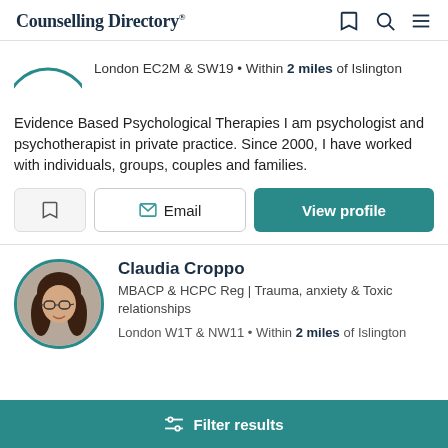Counselling Directory
London EC2M & SW19 • Within 2 miles of Islington
Evidence Based Psychological Therapies I am psychologist and psychotherapist in private practice. Since 2000, I have worked with individuals, groups, couples and families.
Claudia Croppo
MBACP & HCPC Reg | Trauma, anxiety & Toxic relationships
London W1T & NW11 • Within 2 miles of Islington
Filter results